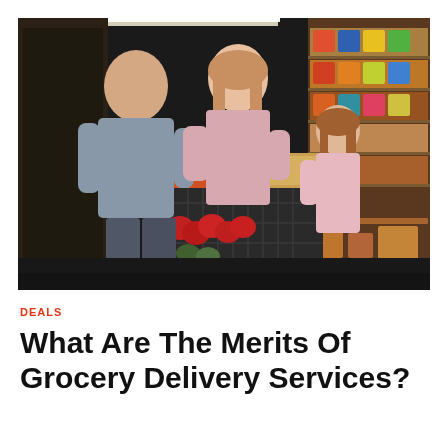[Figure (photo): A family of three (man, woman, and young girl) shopping in a grocery store aisle. The woman is placing a bread item into a large shopping cart filled with red apples and other groceries. Shelves with packaged food products are visible in the background.]
DEALS
What Are The Merits Of Grocery Delivery Services?